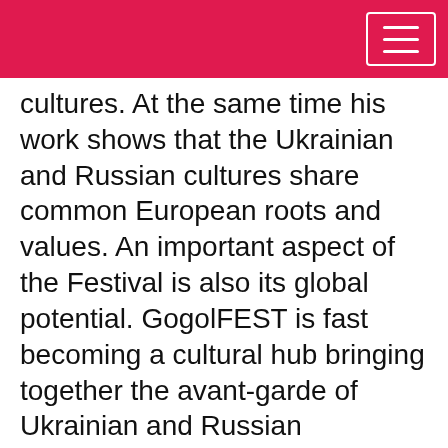cultures. At the same time his work shows that the Ukrainian and Russian cultures share common European roots and values. An important aspect of the Festival is also its global potential. GogolFEST is fast becoming a cultural hub bringing together the avant-garde of Ukrainian and Russian contemporary visual and performing arts along with other international artists.
Over the years GogolFEST has changed three venues, finally finding home in the premises of industrial zone at Vydubichi in 2012. As a result of the Festival, the industrial zone is now being reconstructed to become Ukraine's first art factory. In the nearest future if it planned to become the most powerful center for contemporary arts and